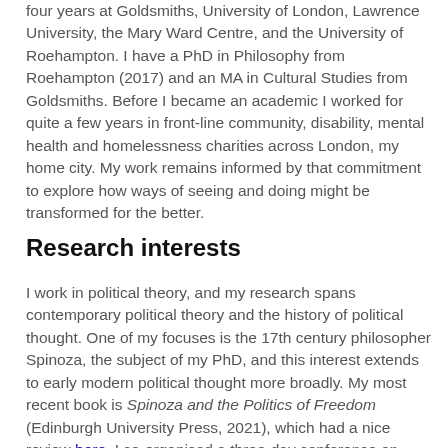four years at Goldsmiths, University of London, Lawrence University, the Mary Ward Centre, and the University of Roehampton. I have a PhD in Philosophy from Roehampton (2017) and an MA in Cultural Studies from Goldsmiths. Before I became an academic I worked for quite a few years in front-line community, disability, mental health and homelessness charities across London, my home city. My work remains informed by that commitment to explore how ways of seeing and doing might be transformed for the better.
Research interests
I work in political theory, and my research spans contemporary political theory and the history of political thought. One of my focuses is the 17th century philosopher Spinoza, the subject of my PhD, and this interest extends to early modern political thought more broadly. My most recent book is Spinoza and the Politics of Freedom (Edinburgh University Press, 2021), which had a nice review here. I co-organised a three-day conference on Spinoza's Tractatus Theologico-Politicus last year (watch the talks